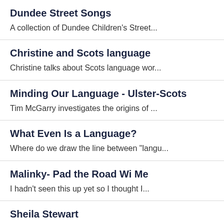Dundee Street Songs
A collection of Dundee Children's Street...
Christine and Scots language
Christine talks about Scots language wor...
Minding Our Language - Ulster-Scots
Tim McGarry investigates the origins of ...
What Even Is a Language?
Where do we draw the line between "langu...
Malinky- Pad the Road Wi Me
I hadn't seen this up yet so I thought I...
Sheila Stewart